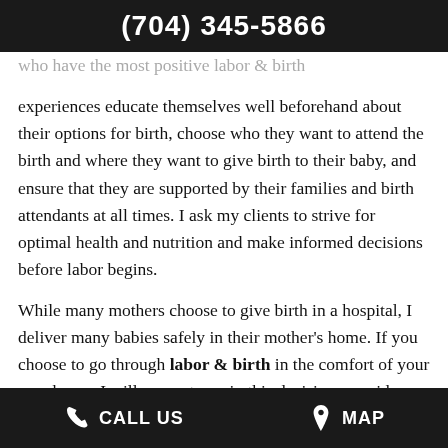(704) 345-5866
...who have the most positive labor & birth experiences educate themselves well beforehand about their options for birth, choose who they want to attend the birth and where they want to give birth to their baby, and ensure that they are supported by their families and birth attendants at all times. I ask my clients to strive for optimal health and nutrition and make informed decisions before labor begins.
While many mothers choose to give birth in a hospital, I deliver many babies safely in their mother’s home. If you choose to go through labor & birth in the comfort of your own home, I will support you in this decision, provide guidance and
CALL US   MAP